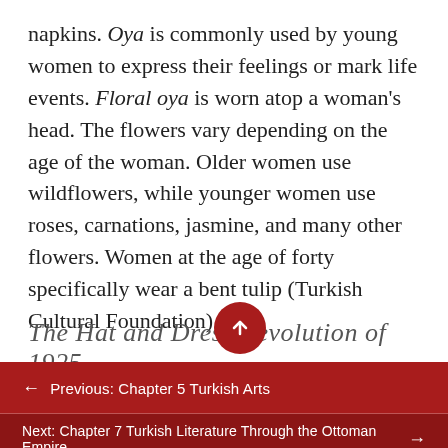napkins. Oya is commonly used by young women to express their feelings or mark life events. Floral oya is worn atop a woman's head. The flowers vary depending on the age of the woman. Older women use wildflowers, while younger women use roses, carnations, jasmine, and many other flowers. Women at the age of forty specifically wear a bent tulip (Turkish Cultural Foundation).
The Hat and Dress Revolution of 1925
Previous: Chapter 5 Turkish Arts
Next: Chapter 7 Turkish Literature Through the Ottoman Empire